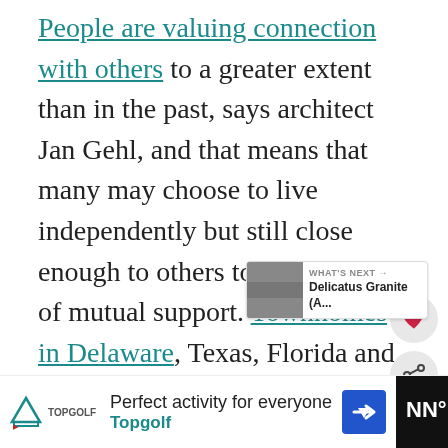People are valuing connection with others to a greater extent than in the past, says architect Jan Gehl, and that means that many may choose to live independently but still close enough to others to enjoy a sense of mutual support. Townhomes in Delaware, Texas, Florida and a handful of other states have always been popular, but we could see similar interest in 'joined yet sep[arate'] means of living. Physically connected
[Figure (screenshot): Social media UI overlay: heart (like) button and share button on right side; 'What's Next' card showing Delicatus Granite thumbnail]
[Figure (screenshot): Advertisement banner at bottom: Topgolf 'Perfect activity for everyone' ad with logo, blue arrow icon, and dark CNN-style logo on right]